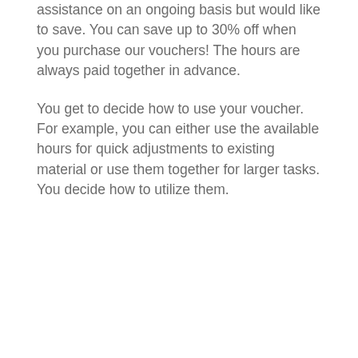assistance on an ongoing basis but would like to save. You can save up to 30% off when you purchase our vouchers! The hours are always paid together in advance.
You get to decide how to use your voucher. For example, you can either use the available hours for quick adjustments to existing material or use them together for larger tasks. You decide how to utilize them.